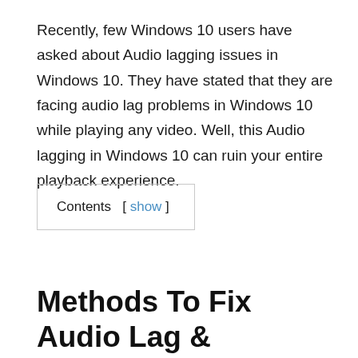Recently, few Windows 10 users have asked about Audio lagging issues in Windows 10. They have stated that they are facing audio lag problems in Windows 10 while playing any video. Well, this Audio lagging in Windows 10 can ruin your entire playback experience.
Contents  [ show ]
Methods To Fix Audio Lag & Crackling Sound On